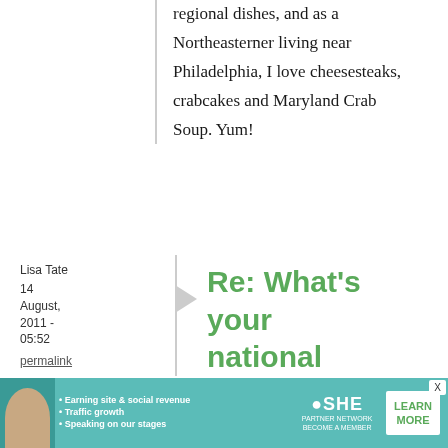regional dishes, and as a Northeasterner living near Philadelphia, I love cheesesteaks, crabcakes and Maryland Crab Soup. Yum!
Lisa Tate
14 August, 2011 - 05:52
permalink
Re: What's your national
[Figure (infographic): SHE Partner Network advertisement banner with a woman photo, bullet points: Earning site & social revenue, Traffic growth, Speaking on our stages, SHE logo, LEARN MORE button, and X close button]